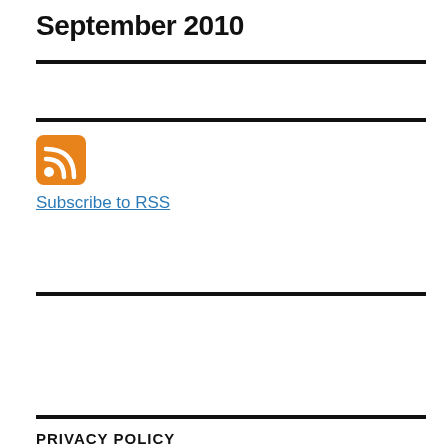September 2010
[Figure (logo): Orange RSS feed icon]
Subscribe to RSS
Search ...
PRIVACY POLICY